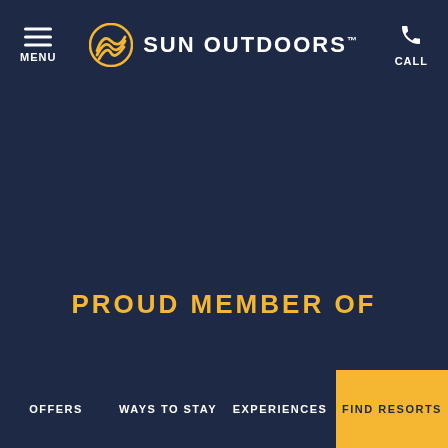MENU | SUN OUTDOORS | CALL
PROUD MEMBER OF
OFFERS | WAYS TO STAY | EXPERIENCES | FIND RESORTS